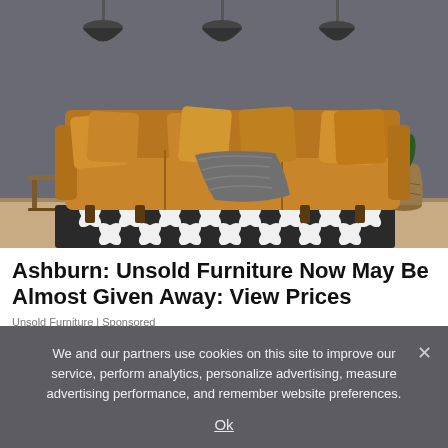[Figure (photo): Interior living room scene with an amber/mustard yellow velvet sofa with matching cushions, a grey knitted throw blanket draped over it, a geometric black and white area rug, three pendant lights hanging from the ceiling, and a wicker vase with a plant in the corner. The walls are dark grey.]
Ashburn: Unsold Furniture Now May Be Almost Given Away: View Prices
Unsold Furniture | Sponsored
We and our partners use cookies on this site to improve our service, perform analytics, personalize advertising, measure advertising performance, and remember website preferences.
Ok